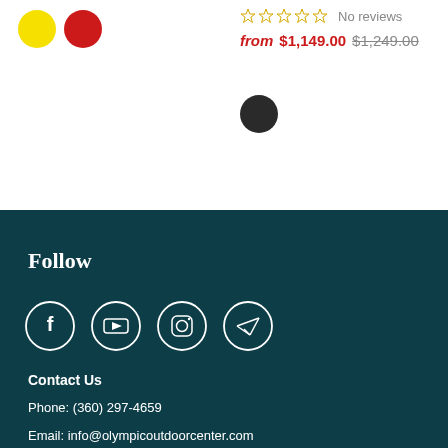[Figure (other): Yellow and red color swatches (circles) for product selection]
☆☆☆☆☆ No reviews
from $1,149.00 $1,249.00
[Figure (other): Dark/black color swatch circle for product selection]
Follow
[Figure (other): Social media icons: Facebook, YouTube, Instagram, Telegram/send]
Contact Us
Phone: (360) 297-4659
Email: info@olympicoutdoorcenter.com